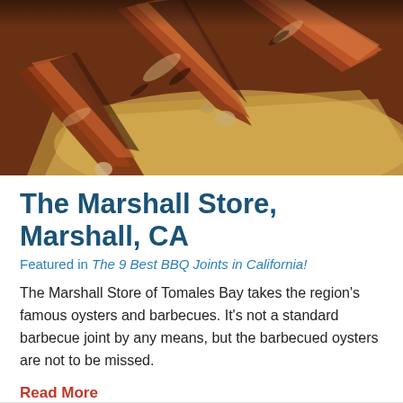[Figure (photo): Close-up photo of barbecued/smoked ribs on parchment paper, with a dark brown caramelized crust, warm tones of brown, red, and orange]
The Marshall Store, Marshall, CA
Featured in The 9 Best BBQ Joints in California!
The Marshall Store of Tomales Bay takes the region's famous oysters and barbecues. It's not a standard barbecue joint by any means, but the barbecued oysters are not to be missed.
Read More